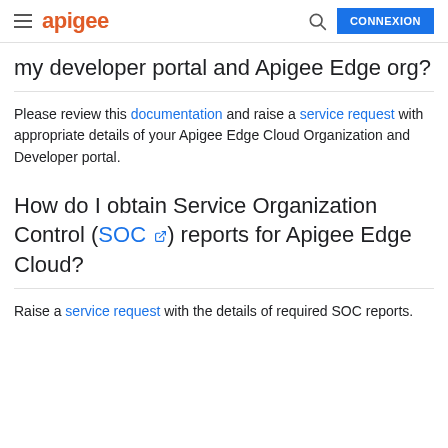apigee | CONNEXION
my developer portal and Apigee Edge org?
Please review this documentation and raise a service request with appropriate details of your Apigee Edge Cloud Organization and Developer portal.
How do I obtain Service Organization Control (SOC) reports for Apigee Edge Cloud?
Raise a service request with the details of required SOC reports.